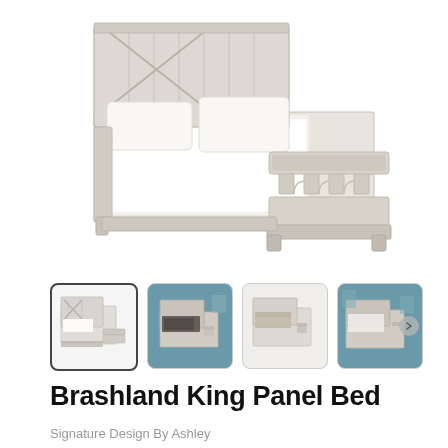[Figure (photo): Main product photo of a white/light wood Brashland King Panel Bed shown from a front-left angle with white bedding, two pillows, and an upholstered bench at the foot. Farmhouse-style with X-pattern headboard.]
[Figure (photo): Thumbnail 1 (selected/active): Same bed product on white background, front view.]
[Figure (photo): Thumbnail 2: Bed styled in a teal/blue bedroom setting with dark bedding.]
[Figure (photo): Thumbnail 3: Bed styled on white/neutral background with layered bedding.]
[Figure (photo): Thumbnail 4: Bed styled in a teal/blue bedroom setting, wider room view.]
Brashland King Panel Bed
Signature Design By Ashley